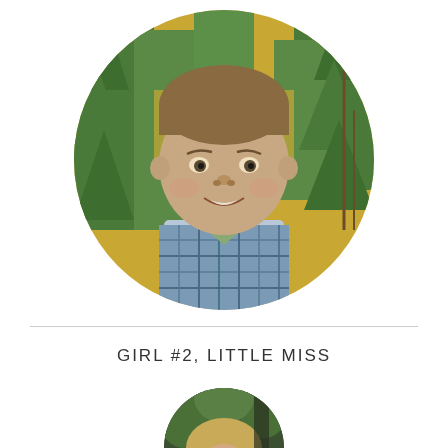[Figure (photo): Circular cropped photo of a young boy smiling, wearing a plaid shirt, with green pine trees and yellow foliage in the background]
GIRL #2, LITTLE MISS
[Figure (photo): Circular cropped photo partially visible at bottom of page, showing a young girl with light hair outdoors with trees in background]